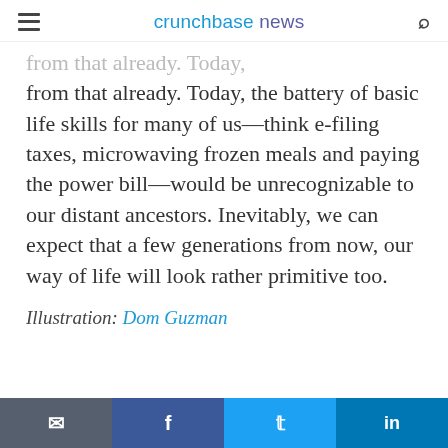crunchbase news
from that already. Today, the battery of basic life skills for many of us—think e-filing taxes, microwaving frozen meals and paying the power bill—would be unrecognizable to our distant ancestors. Inevitably, we can expect that a few generations from now, our way of life will look rather primitive too.
Illustration: Dom Guzman
email | facebook | twitter | linkedin